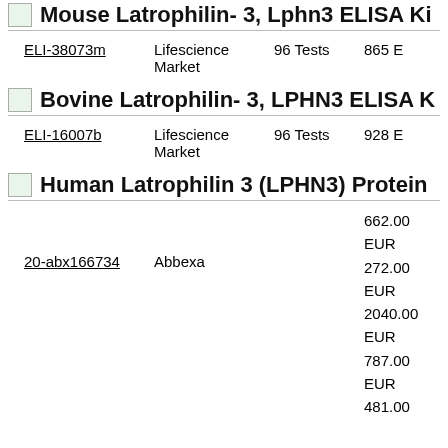Mouse Latrophilin- 3, Lphn3 ELISA Ki…
| ID | Supplier | Qty | Price |
| --- | --- | --- | --- |
| ELI-38073m | Lifescience Market | 96 Tests | 865 E… |
Bovine Latrophilin- 3, LPHN3 ELISA Ki…
| ID | Supplier | Qty | Price |
| --- | --- | --- | --- |
| ELI-16007b | Lifescience Market | 96 Tests | 928 E… |
Human Latrophilin 3 (LPHN3) Protein…
| ID | Supplier | Price |
| --- | --- | --- |
| 20-abx166734 | Abbexa | 662.00 EUR
272.00 EUR
2040.00 EUR
787.00 EUR
481.00… |